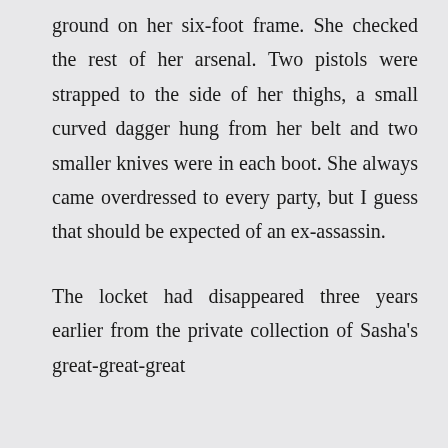ground on her six-foot frame. She checked the rest of her arsenal. Two pistols were strapped to the side of her thighs, a small curved dagger hung from her belt and two smaller knives were in each boot. She always came overdressed to every party, but I guess that should be expected of an ex-assassin.

The locket had disappeared three years earlier from the private collection of Sasha's great-great-great